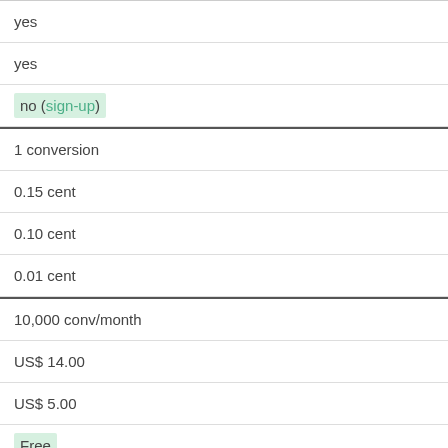| yes |
| yes |
| no (sign-up) |
| 1 conversion |
| 0.15 cent |
| 0.10 cent |
| 0.01 cent |
| 10,000 conv/month |
| US$ 14.00 |
| US$ 5.00 |
| Free |
| 25,000 conv/month |